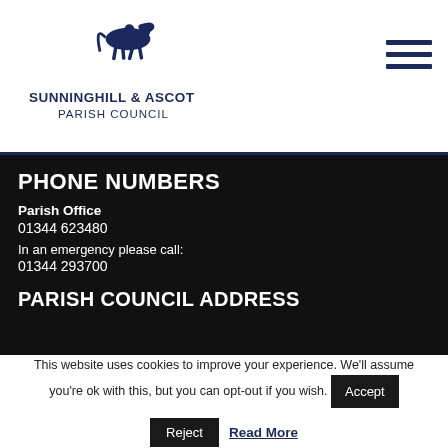[Figure (logo): Sunninghill & Ascot Parish Council logo with running horse figure and text]
PHONE NUMBERS
Parish Office
01344 623480
In an emergency please call:
01344 293700
PARISH COUNCIL ADDRESS
This website uses cookies to improve your experience. We'll assume you're ok with this, but you can opt-out if you wish.